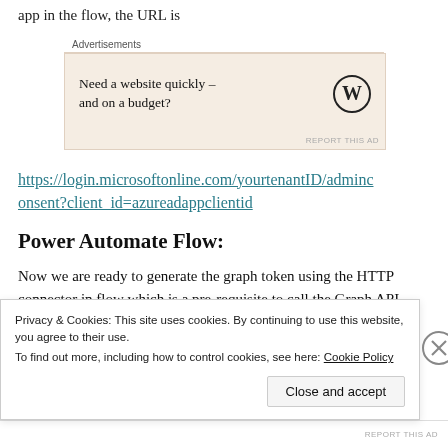app in the flow, the URL is
[Figure (other): WordPress advertisement banner with text 'Need a website quickly – and on a budget?' and WordPress logo]
https://login.microsoftonline.com/yourtenantID/adminconsent?client_id=azureadappclientid
Power Automate Flow:
Now we are ready to generate the graph token using the HTTP connector in flow which is a pre-requisite to call the Graph API endpoint. To generate a token in Flow
Privacy & Cookies: This site uses cookies. By continuing to use this website, you agree to their use.
To find out more, including how to control cookies, see here: Cookie Policy
Close and accept